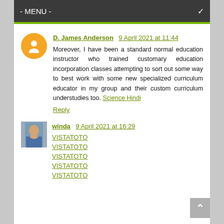- MENU -
D. James Anderson  9 April 2021 at 11:44
Moreover, I have been a standard normal education instructor who trained customary education incorporation classes attempting to sort out some way to best work with some new specialized curriculum educator in my group and their custom curriculum understudies too. Science Hindi
Reply
winda  9 April 2021 at 16:29
VISTATOTO
VISTATOTO
VISTATOTO
VISTATOTO
VISTATOTO